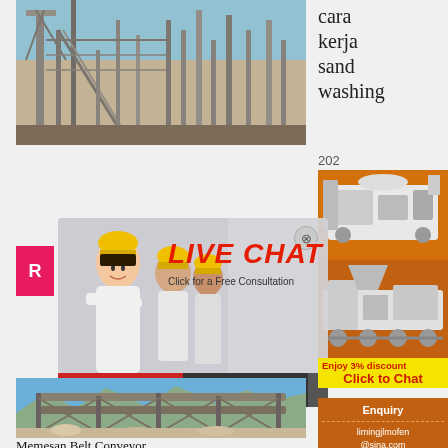[Figure (photo): Industrial facility with conveyor structures and cranes against sky, top-left area]
cara kerja sand washing
202
[Figure (photo): Orange sidebar with images of mining/crushing equipment]
[Figure (photo): Live chat popup overlay showing workers in hard hats with LIVE CHAT text, chat now and chat later buttons]
Enjoy 3% discount
Click to Chat
Enquiry
limingjlmofen@sina.com
[Figure (photo): Belt conveyor industrial equipment photo, outdoor setting with blue sky]
Memesan Belt Conveyor